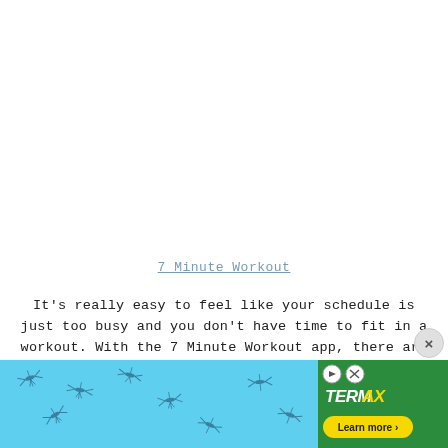7 Minute Workout
It's really easy to feel like your schedule is just too busy and you don't have time to fit in a workout. With the 7 Minute Workout app, there are no excuses. You can fit in a quick workout anytime you have a little break in your day or combine workouts to get a
[Figure (photo): Advertisement banner for Termacil mosquito product with cyan/blue background showing mosquito illustrations on left and green Termacil branding box on right with 'Learn more' button]